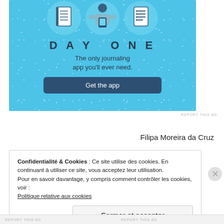[Figure (illustration): Day One journaling app advertisement with light blue background, illustrated icons of a notebook, person using phone, and a list/notes. Shows 'DAY ONE' title, tagline 'The only journaling app you'll ever need.' and a 'Get the app' button.]
REPORT THIS AD
Filipa Moreira da Cruz
Confidentialité & Cookies : Ce site utilise des cookies. En continuant à utiliser ce site, vous acceptez leur utilisation.
Pour en savoir davantage, y compris comment contrôler les cookies, voir :
Politique relative aux cookies
Fermer et accepter